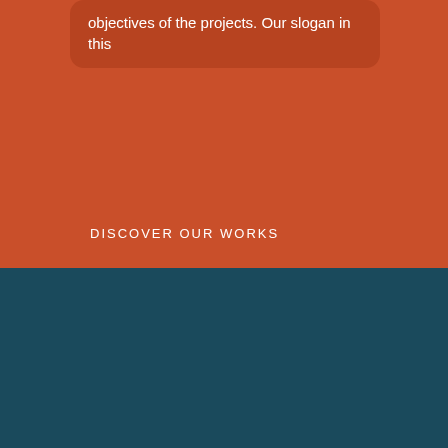objectives of the projects. Our slogan in this
DISCOVER OUR WORKS
WORKS
[Figure (illustration): A woman with dark hair standing in front of a yellow semicircle/sun shape on a dark teal background]